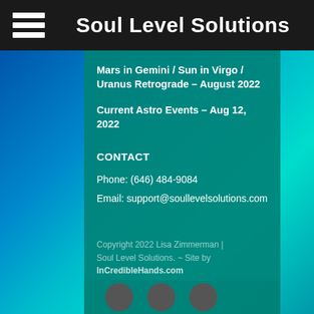Soul Level Solutions
Mars in Gemini / Sun in Virgo / Uranus Retrograde – August 2022
Current Astro Events – Aug 12, 2022
CONTACT
Phone: (646) 484-9084
Email: support@soullevelsolutions.com
Copyright 2022 Lisa Zimmerman | Soul Level Solutions. ~ Site by InCredibleHands.com